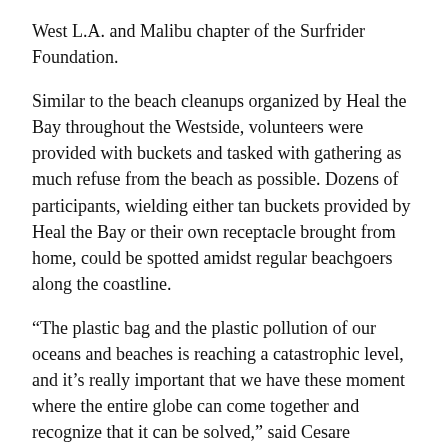West L.A. and Malibu chapter of the Surfrider Foundation.
Similar to the beach cleanups organized by Heal the Bay throughout the Westside, volunteers were provided with buckets and tasked with gathering as much refuse from the beach as possible. Dozens of participants, wielding either tan buckets provided by Heal the Bay or their own receptacle brought from home, could be spotted amidst regular beachgoers along the coastline.
“The plastic bag and the plastic pollution of our oceans and beaches is reaching a catastrophic level, and it’s really important that we have these moment where the entire globe can come together and recognize that it can be solved,” said Cesare
Additionally, restaurant chain Rubio’s Coastal Grill and the Cancer Treatment Centers of America network of hospitals set up tables at the event, along with the Surfrider Foundation and Parley for the Oceans, who were aiding volunteers throughout the morning